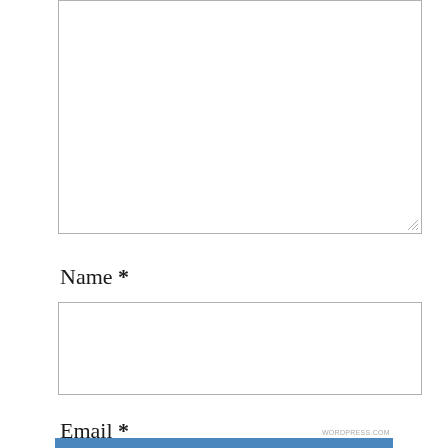[Figure (screenshot): Partially visible textarea form field at the top of the page]
Name *
[Figure (screenshot): Empty text input field for Name]
Email *
[Figure (screenshot): Empty text input field for Email]
Privacy & Cookies: This site uses cookies. By continuing to use this website, you agree to their use.
To find out more, including how to control cookies, see here: Cookie Policy
Close and accept